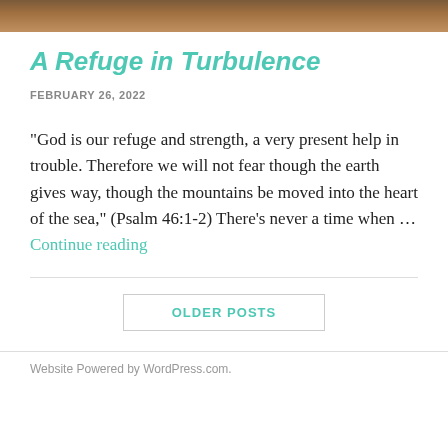[Figure (photo): Partial landscape/nature photo strip at the top of the page, showing earthy brown tones]
A Refuge in Turbulence
FEBRUARY 26, 2022
“God is our refuge and strength, a very present help in trouble. Therefore we will not fear though the earth gives way, though the mountains be moved into the heart of the sea,” (Psalm 46:1-2) There’s never a time when … Continue reading
OLDER POSTS
Website Powered by WordPress.com.